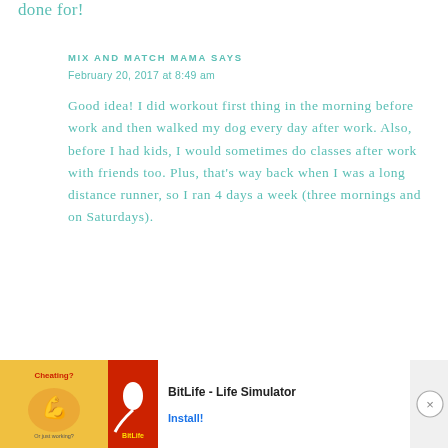done for!
MIX AND MATCH MAMA SAYS
February 20, 2017 at 8:49 am
Good idea! I did workout first thing in the morning before work and then walked my dog every day after work. Also, before I had kids, I would sometimes do classes after work with friends too. Plus, that’s way back when I was a long distance runner, so I ran 4 days a week (three mornings and on Saturdays).
[Figure (screenshot): Advertisement banner for BitLife - Life Simulator app with flexed arm graphic and red BitLife logo section]